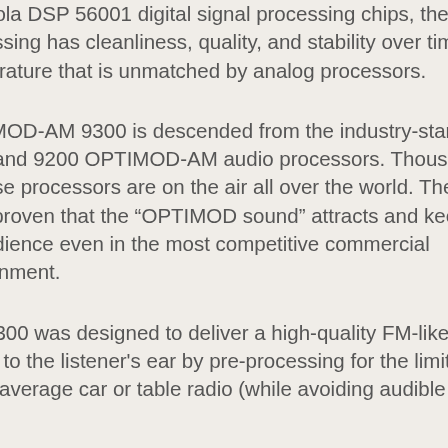Motorola DSP 56001 digital signal processing chips, the processing has cleanliness, quality, and stability over time and temperature that is unmatched by analog processors.
OPTIMOD-AM 9300 is descended from the industry-standard 9100 and 9200 OPTIMOD-AM audio processors. Thousands of these processors are on the air all over the world. They have proven that the “OPTIMOD sound” attracts and keeps an audience even in the most competitive commercial environment.
The 9300 was designed to deliver a high-quality FM-like sound to the listener's ear by pre-processing for the limitations of the average car or table radio (while avoiding audible side